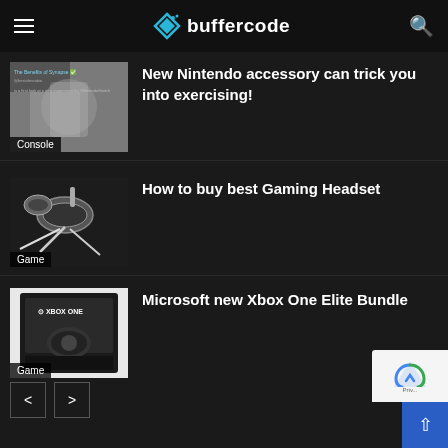buffercode
[Figure (screenshot): Thumbnail image of a person near a window with a Nintendo-related overlay, labeled Console]
New Nintendo accessory can trick you into exercising!
[Figure (photo): Black and white photo of a gaming headset with cable, labeled Game]
How to buy best Gaming Headset
[Figure (photo): Xbox One Elite Bundle box product photo, labeled Game]
Microsoft new Xbox One Elite Bundle
< >